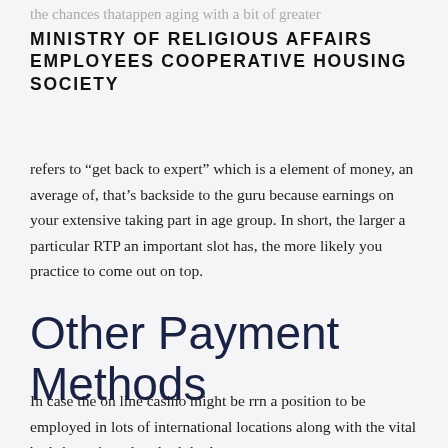MINISTRY OF RELIGIOUS AFFAIRS EMPLOYEES COOPERATIVE HOUSING SOCIETY
refers to “get back to expert” which is a element of money, an average of, that’s backside to the guru because earnings on your extensive taking part in age group. In short, the larger a particular RTP an important slot has, the more likely you practice to come out on top.
Other Payment Methods
In case the on line casino might be rrn a position to be employed in lots of international locations along with the vital bed sheets in order, that’ohydrates a country